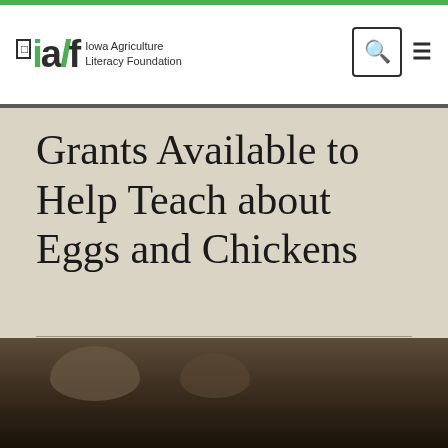Iowa Agriculture Literacy Foundation
Grants Available to Help Teach about Eggs and Chickens
AUTHOR: Will Fett  PUBLISHED: 10/19/2020
[Figure (photo): Dark photograph of chickens, partially visible at bottom of page]